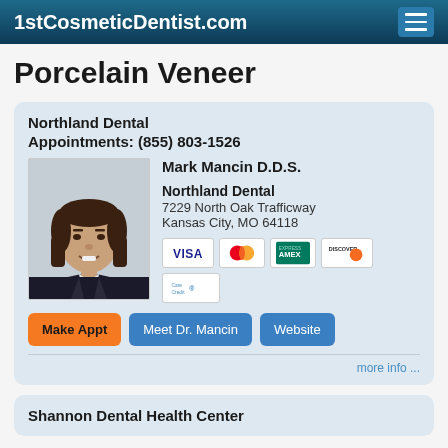1stCosmeticDentist.com
Porcelain Veneer
Northland Dental
Appointments: (855) 803-1526
[Figure (photo): Headshot of Dr. Mark Mancin, male with dark hair, wearing a suit]
Mark Mancin D.D.S.
Northland Dental
7229 North Oak Trafficway
Kansas City, MO 64118
[Figure (infographic): Payment card icons: VISA, MasterCard, American Express, Discover, CareCredit]
Make Appt   Meet Dr. Mancin   Website
more info ...
Shannon Dental Health Center